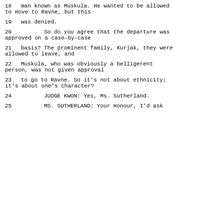18      man known as Muskula.  He wanted to be allowed to move to Ravne, but this
19      was denied.
20              So do you agree that the departure was approved on a case-by-case
21      basis?  The prominent family, Kurjak, they were allowed to leave, and
22      Muskula, who was obviously a belligerent person, was not given approval
23      to go to Ravne.  So it's not about ethnicity; it's about one's character?
24              JUDGE KWON:  Yes, Ms. Sutherland.
25              MS. SUTHERLAND:  Your Honour, I'd ask